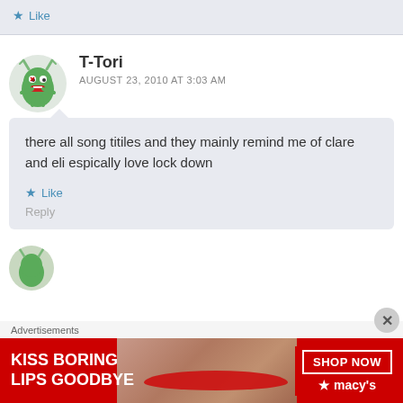Like
T-Tori
AUGUST 23, 2010 AT 3:03 AM
there all song titiles and they mainly remind me of clare and eli espically love lock down
Like
Reply
[Figure (screenshot): Macy's advertisement banner: KISS BORING LIPS GOODBYE with SHOP NOW button and Macy's star logo]
Advertisements